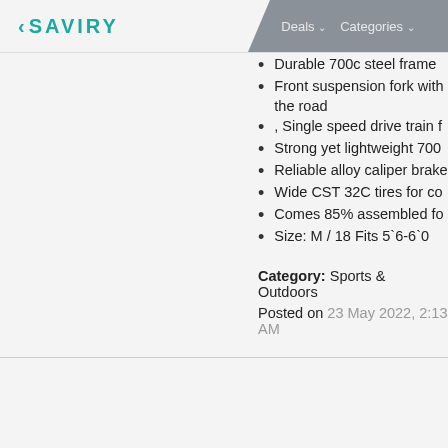< SAVIRY   Deals ∨   Categories ∨
Durable 700c steel frame
Front suspension fork with the road
, Single speed drive train f
Strong yet lightweight 700
Reliable alloy caliper brake
Wide CST 32C tires for co
Comes 85% assembled fo
Size: M / 18 Fits 5`6-6`0
Category: Sports & Outdoors
Posted on 23 May 2022, 2:13 AM